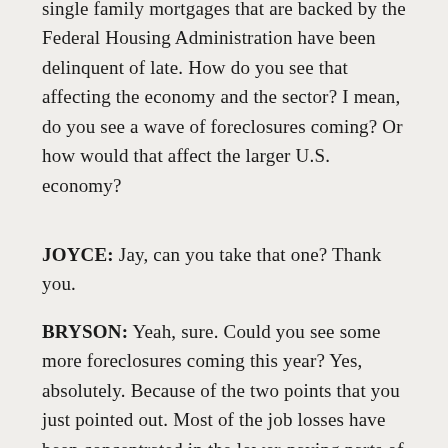single family mortgages that are backed by the Federal Housing Administration have been delinquent of late. How do you see that affecting the economy and the sector? I mean, do you see a wave of foreclosures coming? Or how would that affect the larger U.S. economy?
JOYCE: Jay, can you take that one? Thank you.
BRYSON: Yeah, sure. Could you see some more foreclosures coming this year? Yes, absolutely. Because of the two points that you just pointed out. Most of the job losses have been concentrated in the lower-paying parts of the economy. Most of the job losses have been in the leisure and the hospitality sector, bars, restaurants, things of that nature. And